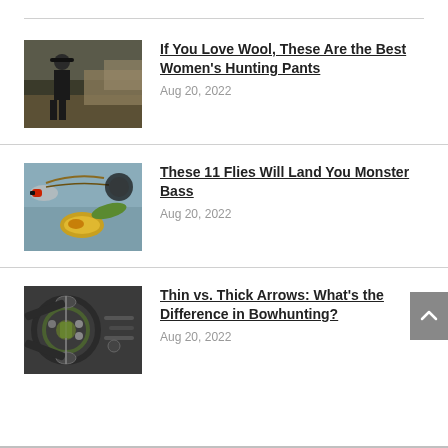[Figure (photo): Woman in a hat with hunting gear standing in a field with dry grass and brush]
If You Love Wool, These Are the Best Women's Hunting Pants
Aug 20, 2022
[Figure (photo): Close-up of fishing flies on water surface, colorful lures]
These 11 Flies Will Land You Monster Bass
Aug 20, 2022
[Figure (photo): Close-up of a compound bow mechanism with green and black colors]
Thin vs. Thick Arrows: What's the Difference in Bowhunting?
Aug 20, 2022